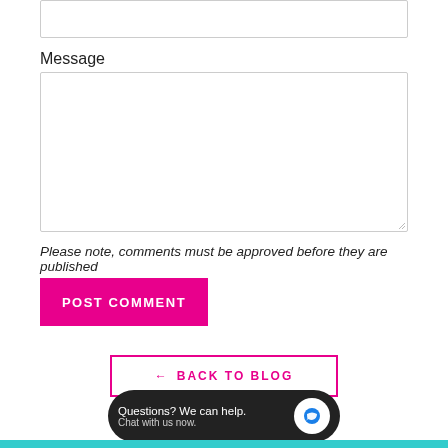[Figure (screenshot): A partially visible input text box at the top of the page]
Message
[Figure (screenshot): A large empty textarea for composing a message]
Please note, comments must be approved before they are published
POST COMMENT
← BACK TO BLOG
Questions? We can help. Chat with us now.